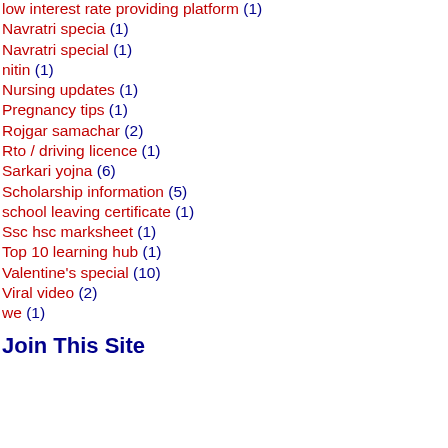low interest rate providing platform (1)
Navratri specia (1)
Navratri special (1)
nitin (1)
Nursing updates (1)
Pregnancy tips (1)
Rojgar samachar (2)
Rto / driving licence (1)
Sarkari yojna (6)
Scholarship information (5)
school leaving certificate (1)
Ssc hsc marksheet (1)
Top 10 learning hub (1)
Valentine's special (10)
Viral video (2)
we (1)
Join This Site